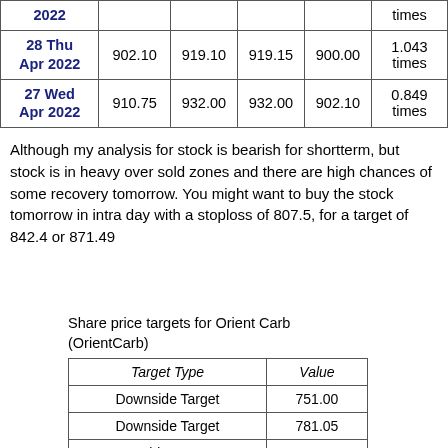| Date |  |  |  |  | times |
| --- | --- | --- | --- | --- | --- |
| 28 Thu Apr 2022 | 902.10 | 919.10 | 919.15 | 900.00 | 1.043 times |
| 27 Wed Apr 2022 | 910.75 | 932.00 | 932.00 | 902.10 | 0.849 times |
Although my analysis for stock is bearish for shortterm, but stock is in heavy over sold zones and there are high chances of some recovery tomorrow. You might want to buy the stock tomorrow in intra day with a stoploss of 807.5, for a target of 842.4 or 871.49
Share price targets for Orient Carb (OrientCarb)
| Target Type | Value |
| --- | --- |
| Downside Target | 751.00 |
| Downside Target | 781.05 |
| Upside Target | 842.90 |
| Upside Target | 880.00 |
| Upside Target | 899.00 |